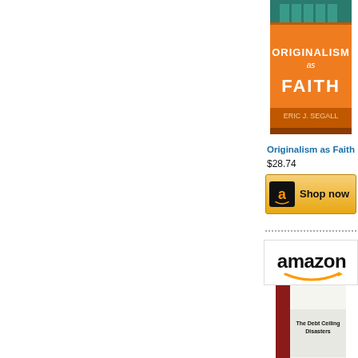[Figure (photo): Book cover: Originalism as Faith by Eric J. Segall, orange cover]
Originalism as Faith
$28.74
[Figure (illustration): Amazon Shop now button with Amazon logo]
[Figure (logo): Amazon logo with arrow]
[Figure (photo): Book cover: The Debt Ceiling Disasters: How..., red cover]
The Debt Ceiling Disasters: How...
$8.99